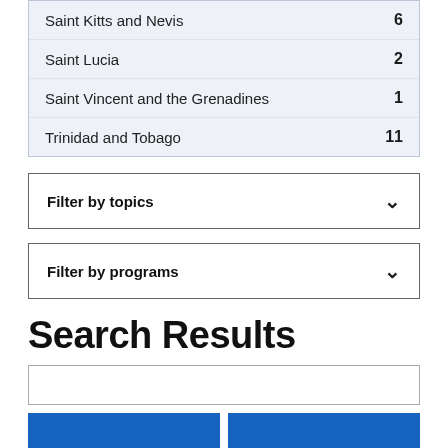| Country | Count |
| --- | --- |
| Saint Kitts and Nevis | 6 |
| Saint Lucia | 2 |
| Saint Vincent and the Grenadines | 1 |
| Trinidad and Tobago | 11 |
Filter by topics
Filter by programs
Search Results
[search input box]
[Figure (other): Two blue buttons partially visible at bottom]